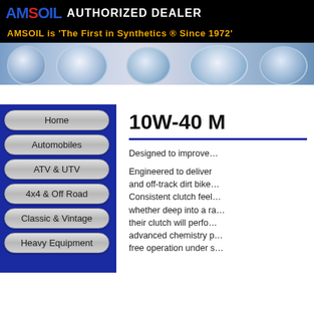AMSOIL AUTHORIZED DEALER — AMSOIL is 'The First in Synthetics ® Since 1972'
[Figure (photo): Engine chrome parts close-up strip image]
Home
Automobiles
ATV & UTV
4x4 & Off Road
Classic & Vintage
Heavy Equipment
10W-40 M
Designed to improve…
Engineered to deliver… and off-track dirt bike… Consistent clutch feel… whether deep into a ra… their clutch will perfo… advanced chemistry p… free operation under s…